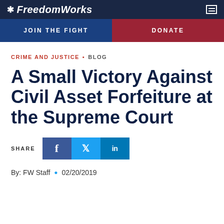FreedomWorks
JOIN THE FIGHT   DONATE
CRIME AND JUSTICE • BLOG
A Small Victory Against Civil Asset Forfeiture at the Supreme Court
SHARE
By: FW Staff • 02/20/2019